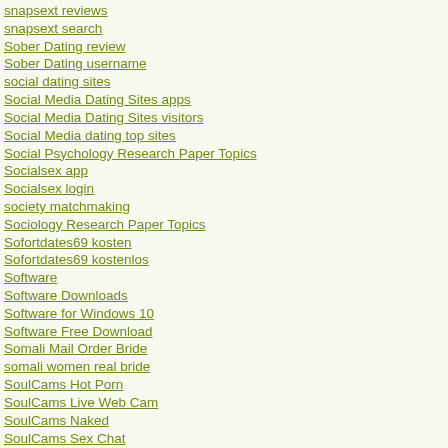snapsext reviews
snapsext search
Sober Dating review
Sober Dating username
social dating sites
Social Media Dating Sites apps
Social Media Dating Sites visitors
Social Media dating top sites
Social Psychology Research Paper Topics
Socialsex app
Socialsex login
society matchmaking
Sociology Research Paper Topics
Sofortdates69 kosten
Sofortdates69 kostenlos
Software
Software Downloads
Software for Windows 10
Software Free Download
Somali Mail Order Bride
somali women real bride
SoulCams Hot Porn
SoulCams Live Web Cam
SoulCams Naked
SoulCams Sex Chat